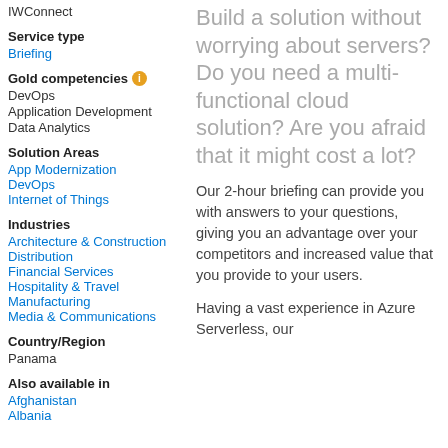IWConnect
Service type
Briefing
Gold competencies
DevOps
Application Development
Data Analytics
Solution Areas
App Modernization
DevOps
Internet of Things
Industries
Architecture & Construction
Distribution
Financial Services
Hospitality & Travel
Manufacturing
Media & Communications
Country/Region
Panama
Also available in
Afghanistan
Albania
Build a solution without worrying about servers? Do you need a multi-functional cloud solution? Are you afraid that it might cost a lot?
Our 2-hour briefing can provide you with answers to your questions, giving you an advantage over your competitors and increased value that you provide to your users.
Having a vast experience in Azure Serverless, our